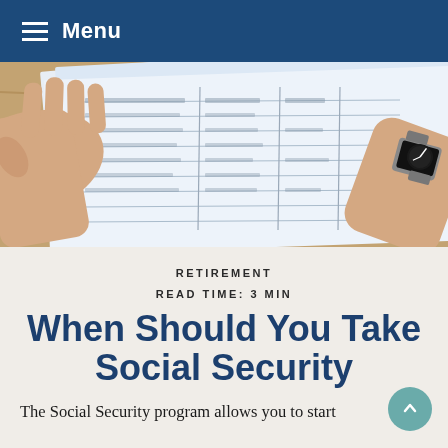Menu
[Figure (photo): Hands holding and reviewing a printed financial document or spreadsheet with a wristwatch visible on one wrist, placed on a wooden surface.]
RETIREMENT
READ TIME: 3 MIN
When Should You Take Social Security
The Social Security program allows you to start